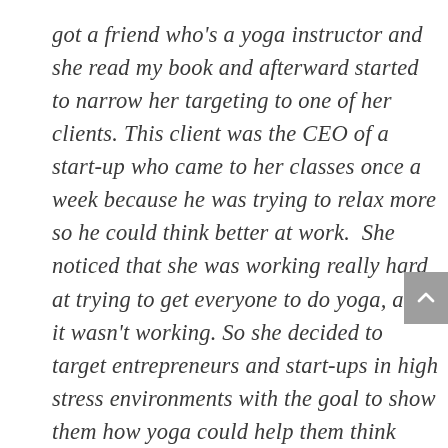got a friend who's a yoga instructor and she read my book and afterward started to narrow her targeting to one of her clients. This client was the CEO of a start-up who came to her classes once a week because he was trying to relax more so he could think better at work.  She noticed that she was working really hard at trying to get everyone to do yoga, and it wasn't working. So she decided to target entrepreneurs and start-ups in high stress environments with the goal to show them how yoga could help them think better, problem-solve better, be more focused.  And as a result of targeting that niche, she's already gained a lot more